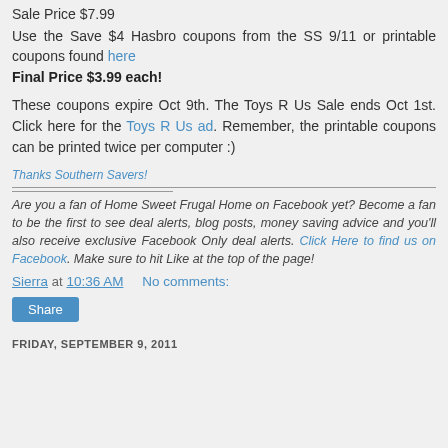Sale Price $7.99
Use the Save $4 Hasbro coupons from the SS 9/11 or printable coupons found here
Final Price $3.99 each!
These coupons expire Oct 9th. The Toys R Us Sale ends Oct 1st. Click here for the Toys R Us ad. Remember, the printable coupons can be printed twice per computer :)
Thanks Southern Savers!
Are you a fan of Home Sweet Frugal Home on Facebook yet? Become a fan to be the first to see deal alerts, blog posts, money saving advice and you'll also receive exclusive Facebook Only deal alerts. Click Here to find us on Facebook. Make sure to hit Like at the top of the page!
Sierra at 10:36 AM   No comments:
Share
FRIDAY, SEPTEMBER 9, 2011